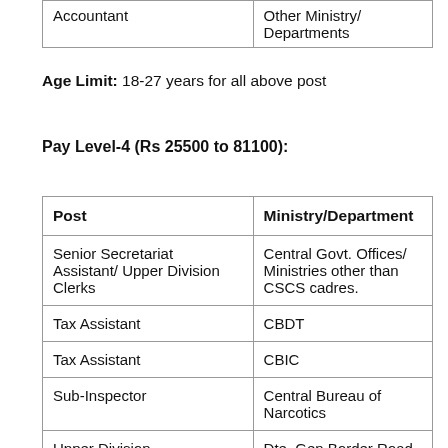| Post (partial) | Ministry/Department (partial) |
| --- | --- |
| Accountant | Other Ministry/ Departments |
Age Limit: 18-27 years for all above post
Pay Level-4 (Rs 25500 to 81100):
| Post | Ministry/Department |
| --- | --- |
| Senior Secretariat Assistant/ Upper Division Clerks | Central Govt. Offices/ Ministries other than CSCS cadres. |
| Tax Assistant | CBDT |
| Tax Assistant | CBIC |
| Sub-Inspector | Central Bureau of Narcotics |
| Upper Division Clerks | Dte. Gen Border Road Organisation (MoD) |